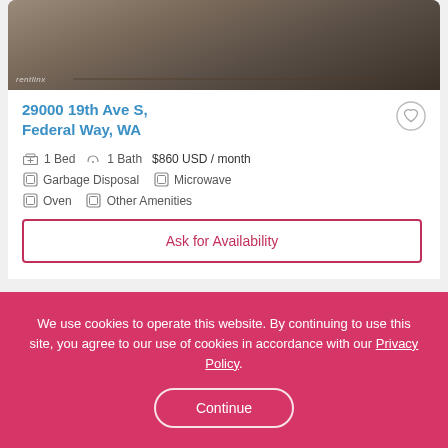[Figure (photo): Interior photo of a kitchen/bar area with dark wood flooring and bar stools, watermark reads 'rentlinx']
29000 19th Ave S, Federal Way, WA
1 Bed  1 Bath  $860 USD / month
Garbage Disposal  Microwave
Oven  Other Amenities
Ask for Availability
We use cookies to operate this website. By continuing to use this site, you agree to our use of cookies in accordance with our Privacy Policy.
Continue